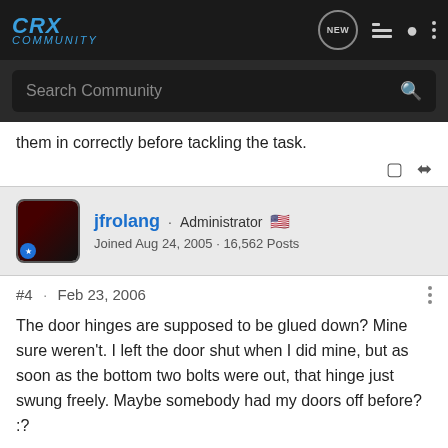[Figure (screenshot): CRX Community forum website navigation bar with logo, search bar, and icons]
them in correctly before tackling the task.
[Figure (screenshot): Bookmark and share icons]
jfrolang · Administrator 🇺🇸 Joined Aug 24, 2005 · 16,562 Posts
#4 · Feb 23, 2006
The door hinges are supposed to be glued down? Mine sure weren't. I left the door shut when I did mine, but as soon as the bottom two bolts were out, that hinge just swung freely. Maybe somebody had my doors off before? :?
I'd also like to see longer bolts supplied to replace the bolts on